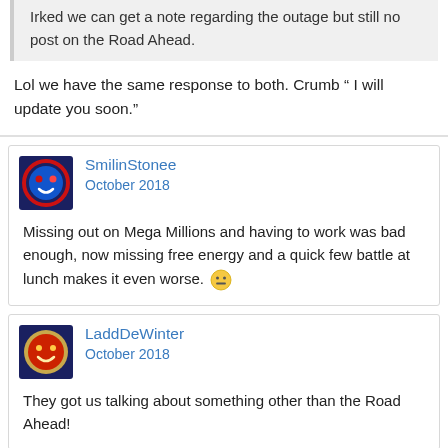Irked we can get a note regarding the outage but still no post on the Road Ahead.
Lol we have the same response to both. Crumb “ I will update you soon.”
SmilinStonee
October 2018
Missing out on Mega Millions and having to work was bad enough, now missing free energy and a quick few battle at lunch makes it even worse. 😐
LaddDeWinter
October 2018
They got us talking about something other than the Road Ahead!